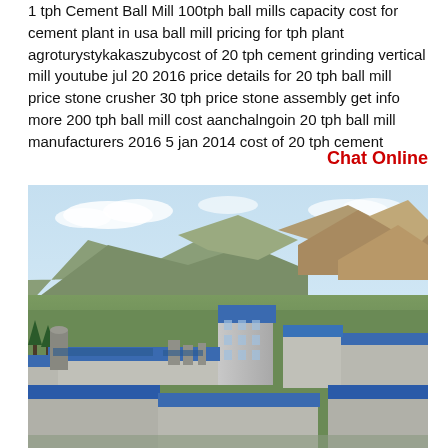1 tph Cement Ball Mill 100tph ball mills capacity cost for cement plant in usa ball mill pricing for tph plant agroturystykakaszubycost of 20 tph cement grinding vertical mill youtube jul 20 2016 price details for 20 tph ball mill price stone crusher 30 tph price stone assembly get info more 200 tph ball mill cost aanchalngoin 20 tph ball mill manufacturers 2016 5 jan 2014 cost of 20 tph cement
Chat Online
[Figure (photo): Aerial view of a large industrial factory complex with blue-roofed buildings set against a mountainous landscape with brown and green hills in the background under a partly cloudy sky.]